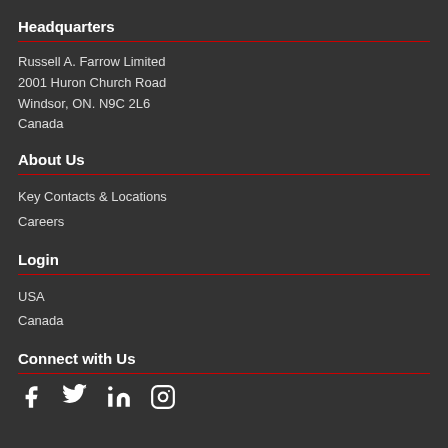Headquarters
Russell A. Farrow Limited
2001 Huron Church Road
Windsor, ON. N9C 2L6
Canada
About Us
Key Contacts & Locations
Careers
Login
USA
Canada
Connect with Us
[Figure (illustration): Social media icons: Facebook, Twitter, LinkedIn, Instagram]